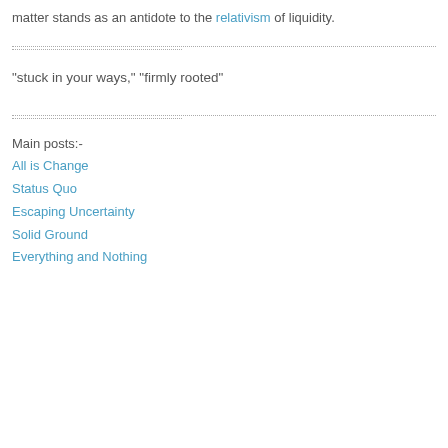matter stands as an antidote to the relativism of liquidity.
"stuck in your ways," "firmly rooted"
Main posts:-
All is Change
Status Quo
Escaping Uncertainty
Solid Ground
Everything and Nothing